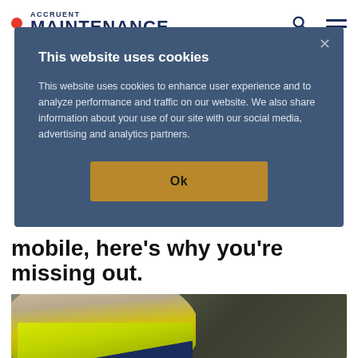ACCRUENT MAINTENANCE
This website uses cookies
This website uses cookies to enhance user experience and to analyze performance and traffic on our website. We also share information about your use of our site with our social media, advertising and analytics partners.
Ok
mobile, here's why you're missing out.
[Figure (photo): A worker in a yellow high-visibility vest and dark jacket, photographed from below in an industrial setting.]